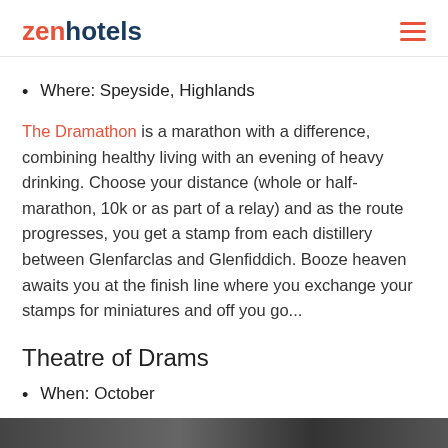zenhotels
Where: Speyside, Highlands
The Dramathon is a marathon with a difference, combining healthy living with an evening of heavy drinking. Choose your distance (whole or half-marathon, 10k or as part of a relay) and as the route progresses, you get a stamp from each distillery between Glenfarclas and Glenfiddich. Booze heaven awaits you at the finish line where you exchange your stamps for miniatures and off you go...
Theatre of Drams
When: October
Where: Bowmore Hall, Islay
[Figure (photo): Dark image strip at bottom of page]